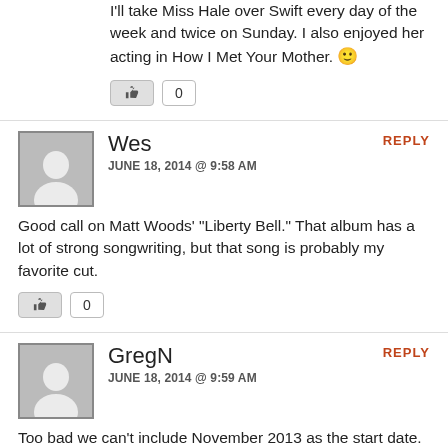I'll take Miss Hale over Swift every day of the week and twice on Sunday. I also enjoyed her acting in How I Met Your Mother. 🙂
Wes
JUNE 18, 2014 @ 9:58 AM
Good call on Matt Woods' "Liberty Bell." That album has a lot of strong songwriting, but that song is probably my favorite cut.
GregN
JUNE 18, 2014 @ 9:59 AM
Too bad we can't include November 2013 as the start date. Then I'd add one of the best story-songs on the last 8 months:
I Got A Car, from George Strait.

Still hear it almost daily on the HD-2 channel of the local Country FM station.